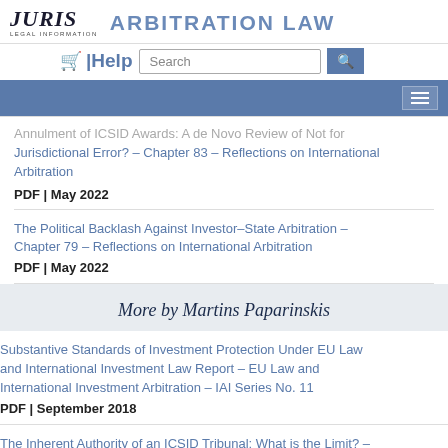JURIS LEGAL INFORMATION | ARBITRATION LAW
Annulment of ICSID Awards: A de Novo Review of Not for Jurisdictional Error? – Chapter 83 – Reflections on International Arbitration
PDF | May 2022
The Political Backlash Against Investor–State Arbitration – Chapter 79 – Reflections on International Arbitration
PDF | May 2022
More by Martins Paparinskis
Substantive Standards of Investment Protection Under EU Law and International Investment Law Report – EU Law and International Investment Arbitration – IAI Series No. 11
PDF | September 2018
The Inherent Authority of an ICSID Tribunal: What is the Limit? – Panel Discussion – Chapter 4 – Investment Treaty Arbitration and International Law – Volume 5